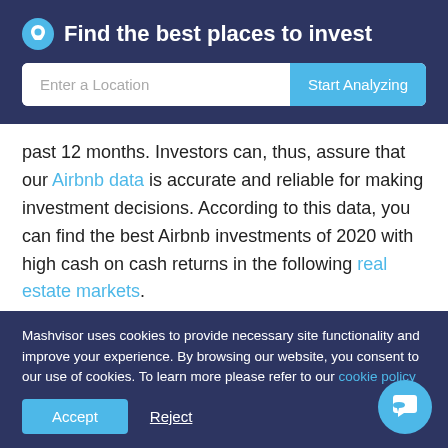Find the best places to invest
[Figure (screenshot): Search bar with 'Enter a Location' input and 'Start Analyzing' button]
past 12 months. Investors can, thus, assure that our Airbnb data is accurate and reliable for making investment decisions. According to this data, you can find the best Airbnb investments of 2020 with high cash on cash returns in the following real estate markets.
1) Lake Zurich, IL
Airbnb
Mashvisor uses cookies to provide necessary site functionality and improve your experience. By browsing our website, you consent to our use of cookies. To learn more please refer to our cookie policy
Accept
Reject